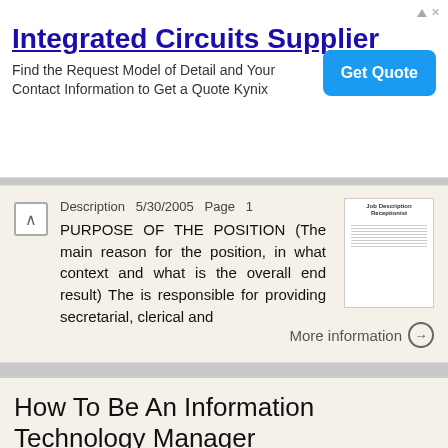[Figure (other): Advertisement banner for Integrated Circuits Supplier with Get Quote button]
Description 5/30/2005 Page 1 PURPOSE OF THE POSITION (The main reason for the position, in what context and what is the overall end result) The is responsible for providing secretarial, clerical and
More information →
How To Be An Information Technology Manager
Job Description Information Technology Manager 5/30/2005 Page 1 PURPOSE OF THE POSITION (The main reason for the position, in what context and what is the overall end result) The is responsible for installing